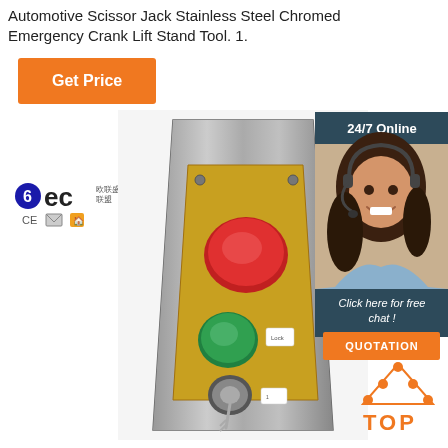Automotive Scissor Jack Stainless Steel Chromed Emergency Crank Lift Stand Tool. 1.
Get Price
[Figure (logo): 6EC brand logo with CE certification icons]
[Figure (photo): Control panel box with red, green buttons and key switch on metallic enclosure]
[Figure (infographic): 24/7 Online customer service agent sidebar with chat and quotation button]
[Figure (other): TOP icon with orange dots and text]